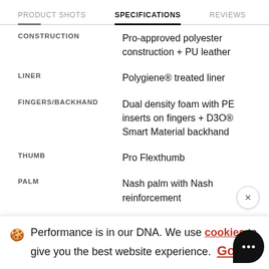PRODUCT SHOTS   SPECIFICATIONS   REVIEWS
| Attribute | Value |
| --- | --- |
| CONSTRUCTION | Pro-approved polyester construction + PU leather |
| LINER | Polygiene® treated liner |
| FINGERS/BACKHAND | Dual density foam with PE inserts on fingers + D3O® Smart Material backhand |
| THUMB | Pro Flexthumb |
| PALM | Nash palm with Nash reinforcement |
🍪 Performance is in our DNA. We use cookies to give you the best website experience. Got it!